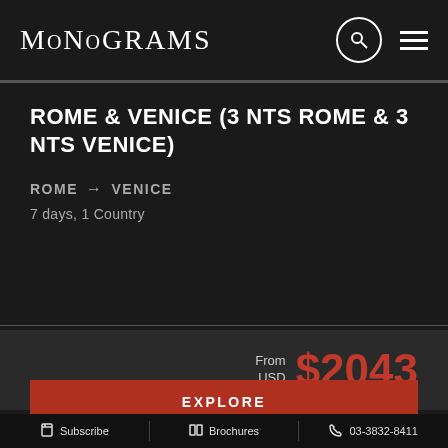MoNoGRAMS
ROME & VENICE (3 NTS ROME & 3 NTS VENICE)
ROME → VENICE
7 days, 1 Country
From USD $2043
EXPLORE
Subscribe  Brochures  03-3832-8411